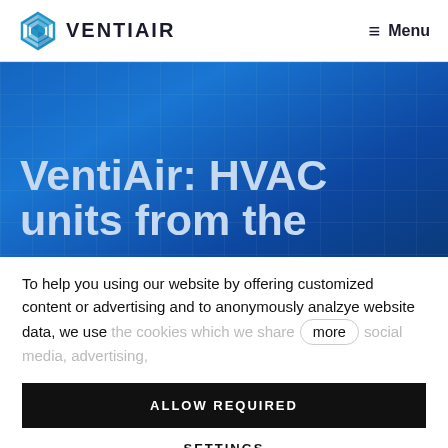VENTIAIR   Menu
[Figure (screenshot): VentiAir HVAC company hero banner with blue gradient background showing partial headline text: 'VentiAir: HVAC units from the']
VentiAir: HVAC units from the
To help you using our website by offering customized content or advertising and to anonymously analzye website data, we use the cookies which we share with social media, advertising,
ALLOW REQUIRED
SETTINGS
ALLOW ALL